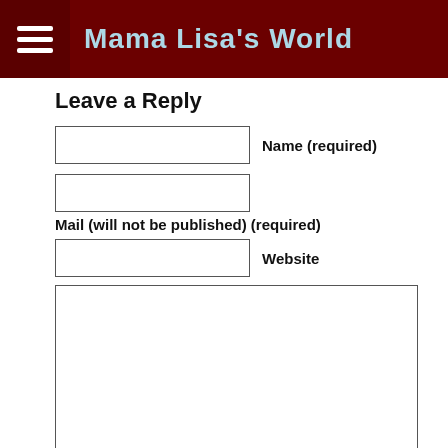Mama Lisa's World
Leave a Reply
Name (required)
Mail (will not be published) (required)
Website
[Figure (other): reCAPTCHA widget with checkbox and logo icon]